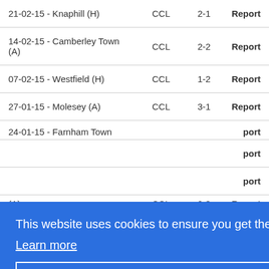| Match | Competition | Score | Report |
| --- | --- | --- | --- |
| 21-02-15 - Knaphill (H) | CCL | 2-1 | Report |
| 14-02-15 - Camberley Town (A) | CCL | 2-2 | Report |
| 07-02-15 - Westfield (H) | CCL | 1-2 | Report |
| 27-01-15 - Molesey (A) | CCL | 3-1 | Report |
| 24-01-15 - Farnham Town ... | ... | ... | ...port |
| ... | ... | ... | ...port |
| ... | ... | ... | ...port |
| (A) | CCL | 0-3 | Report |
This website uses cookies to ensure you get the best experience on our website. Learn more
Got it!